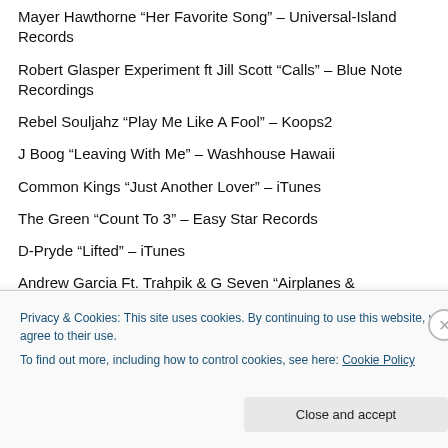Mayer Hawthorne “Her Favorite Song” – Universal-Island Records
Robert Glasper Experiment ft Jill Scott “Calls” – Blue Note Recordings
Rebel Souljahz “Play Me Like A Fool” – Koops2
J Boog “Leaving With Me” – Washhouse Hawaii
Common Kings “Just Another Lover” – iTunes
The Green “Count To 3” – Easy Star Records
D-Pryde “Lifted” – iTunes
Andrew Garcia Ft. Trahpik & G Seven “Airplanes & Trampolines” – Traphik Music
Privacy & Cookies: This site uses cookies. By continuing to use this website, you agree to their use. To find out more, including how to control cookies, see here: Cookie Policy
Close and accept